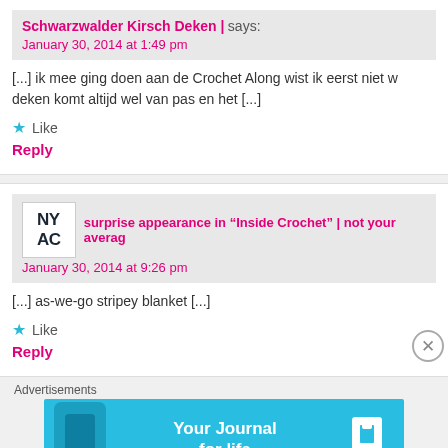Schwarzwalder Kirsch Deken | says:
January 30, 2014 at 1:49 pm
[...] ik mee ging doen aan de Crochet Along wist ik eerst niet w... deken komt altijd wel van pas en het [...]
Like
Reply
surprise appearance in “Inside Crochet” | not your averag...
January 30, 2014 at 9:26 pm
[...] as-we-go stripey blanket [...]
Like
Reply
Advertisements
[Figure (screenshot): Day One app advertisement banner with cyan background, phone image, 'Your Journal for life' text and Day One logo]